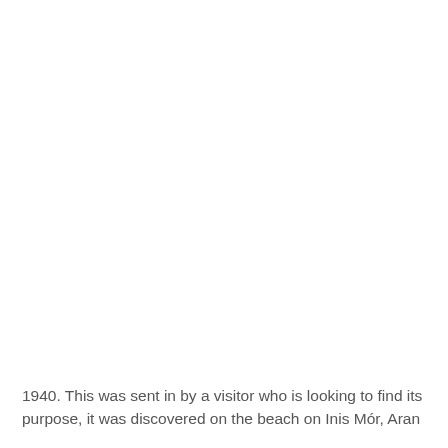1940. This was sent in by a visitor who is looking to find its purpose, it was discovered on the beach on Inis Mór, Aran